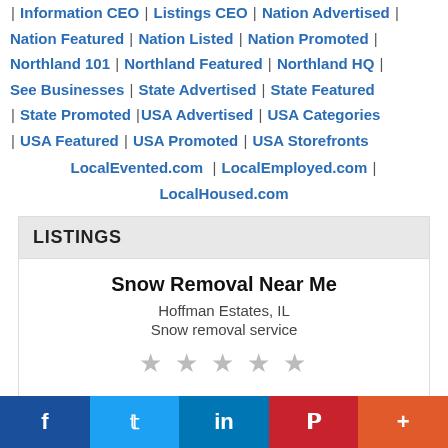| Information CEO | Listings CEO | Nation Advertised | Nation Featured | Nation Listed | Nation Promoted | Northland 101 | Northland Featured | Northland HQ | See Businesses | State Advertised | State Featured | State Promoted |USA Advertised | USA Categories | USA Featured | USA Promoted | USA Storefronts LocalEvented.com | LocalEmployed.com | LocalHoused.com
LISTINGS
Snow Removal Near Me
Hoffman Estates, IL
Snow removal service
★★★★★